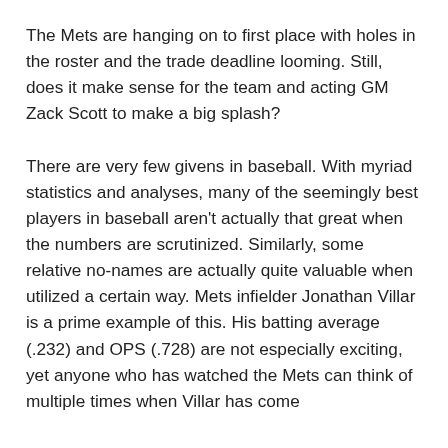The Mets are hanging on to first place with holes in the roster and the trade deadline looming. Still, does it make sense for the team and acting GM Zack Scott to make a big splash?
There are very few givens in baseball. With myriad statistics and analyses, many of the seemingly best players in baseball aren't actually that great when the numbers are scrutinized. Similarly, some relative no-names are actually quite valuable when utilized a certain way. Mets infielder Jonathan Villar is a prime example of this. His batting average (.232) and OPS (.728) are not especially exciting, yet anyone who has watched the Mets can think of multiple times when Villar has come